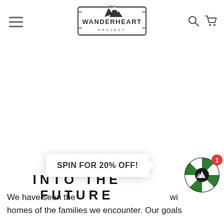[Figure (logo): The Wanderheart Project logo — mountain silhouette above the text 'THE WANDERHEART PROJECT' in a rectangular badge design]
INTO THE FUTURE
We have seen the wi homes of the families we encounter. Our goals
[Figure (infographic): SPIN FOR 20% OFF! promotional popup with a green and white spin wheel widget and a red notification badge showing '1']